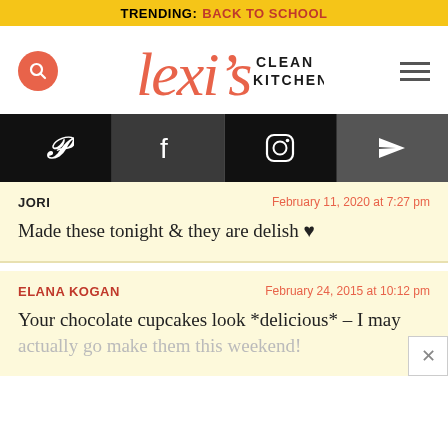TRENDING: BACK TO SCHOOL
[Figure (logo): Lexi's Clean Kitchen logo with search icon and hamburger menu]
[Figure (infographic): Social media bar with Pinterest, Facebook, Instagram, and direct message icons]
JORI
February 11, 2020 at 7:27 pm
Made these tonight & they are delish ♥
ELANA KOGAN
February 24, 2015 at 10:12 pm
Your chocolate cupcakes look *delicious* – I may actually go make them this weekend!